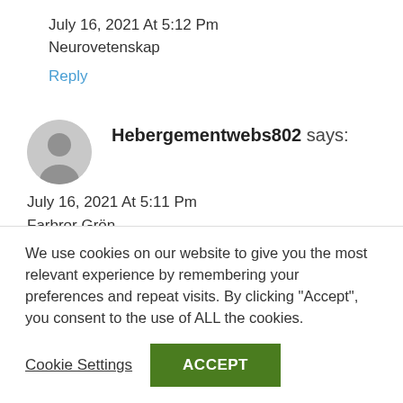July 16, 2021 At 5:12 Pm
Neurovetenskap
Reply
Hebergementwebs802 says:
July 16, 2021 At 5:11 Pm
Farbror Grön
We use cookies on our website to give you the most relevant experience by remembering your preferences and repeat visits. By clicking "Accept", you consent to the use of ALL the cookies.
Cookie Settings
ACCEPT